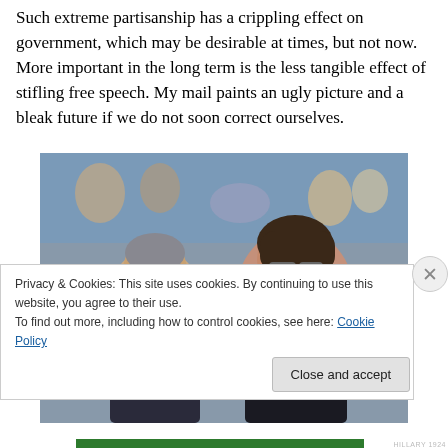Such extreme partisanship has a crippling effect on government, which may be desirable at times, but not now. More important in the long term is the less tangible effect of stifling free speech. My mail paints an ugly picture and a bleak future if we do not soon correct ourselves.
[Figure (photo): Photo of two politicians at a rally — an older man in a suit with a tie on the left, and a woman with glasses speaking into a microphone on the right, with a crowd in the background.]
Privacy & Cookies: This site uses cookies. By continuing to use this website, you agree to their use. To find out more, including how to control cookies, see here: Cookie Policy
Close and accept